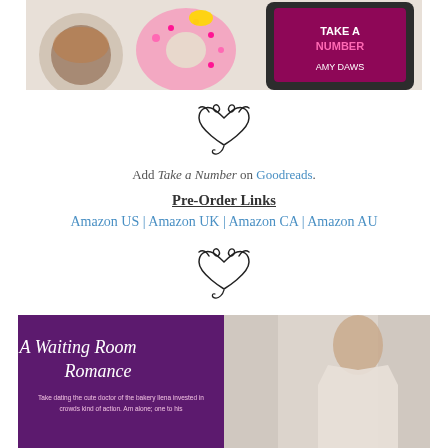[Figure (photo): Book cover photo showing pink donuts, a coffee cup, and a tablet displaying 'Take a Number' by Amy Daws]
[Figure (illustration): Decorative cursive heart/swirl symbol]
Add Take a Number on Goodreads.
Pre-Order Links
Amazon US | Amazon UK | Amazon CA | Amazon AU
[Figure (illustration): Decorative cursive heart/swirl symbol]
[Figure (photo): Book cover for 'A Waiting Room Romance' showing a man and purple background with book text]